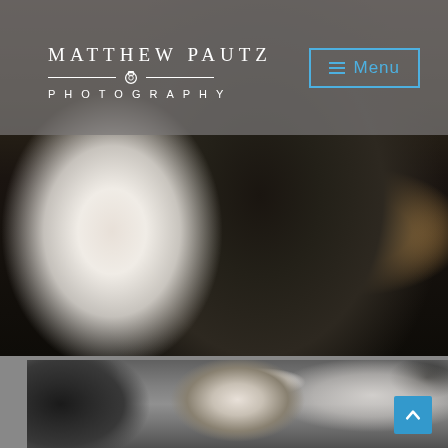[Figure (photo): Wedding photo showing a bride in white dress and groom in dark suit holding hands, with warm indoor venue background. Matthew Pautz Photography watermark at bottom right.]
MATTHEW PAUTZ
PHOTOGRAPHY
≡ Menu
[Figure (photo): Black and white wedding photo showing a groom wearing a yarmulke (kippah) and bride in veil, with floral elements, partially visible at bottom of page.]